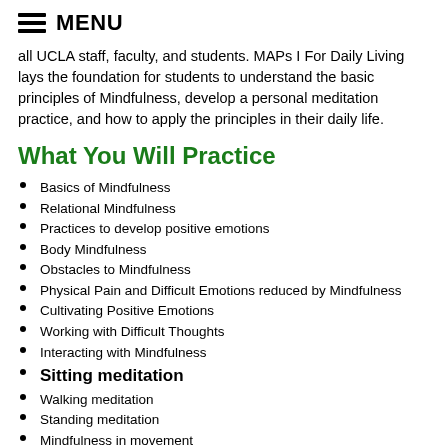MENU
all UCLA staff, faculty, and students. MAPs I For Daily Living lays the foundation for students to understand the basic principles of Mindfulness, develop a personal meditation practice, and how to apply the principles in their daily life.
What You Will Practice
Basics of Mindfulness
Relational Mindfulness
Practices to develop positive emotions
Body Mindfulness
Obstacles to Mindfulness
Physical Pain and Difficult Emotions reduced by Mindfulness
Cultivating Positive Emotions
Working with Difficult Thoughts
Interacting with Mindfulness
Sitting meditation
Walking meditation
Standing meditation
Mindfulness in movement
Daily life meditations